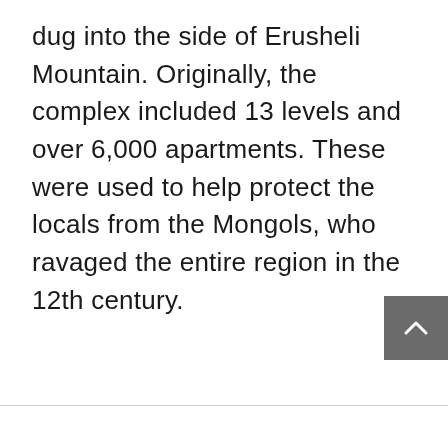dug into the side of Erusheli Mountain. Originally, the complex included 13 levels and over 6,000 apartments. These were used to help protect the locals from the Mongols, who ravaged the entire region in the 12th century.